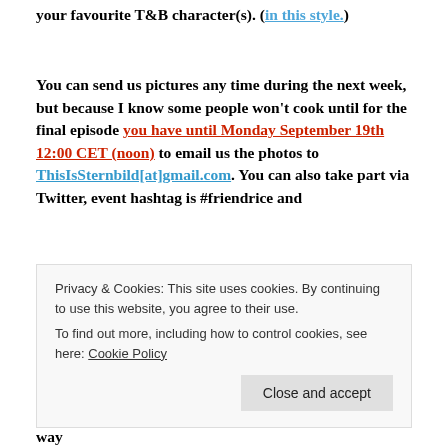your favourite T&B character(s). (in this style.)
You can send us pictures any time during the next week, but because I know some people won't cook until for the final episode you have until Monday September 19th 12:00 CET (noon) to email us the photos to ThisIsSternbild[at]gmail.com. You can also take part via Twitter, event hashtag is #friendrice and
Privacy & Cookies: This site uses cookies. By continuing to use this website, you agree to their use.
To find out more, including how to control cookies, see here: Cookie Policy
star & cast of Tiger & Bunny in person, so this is our way